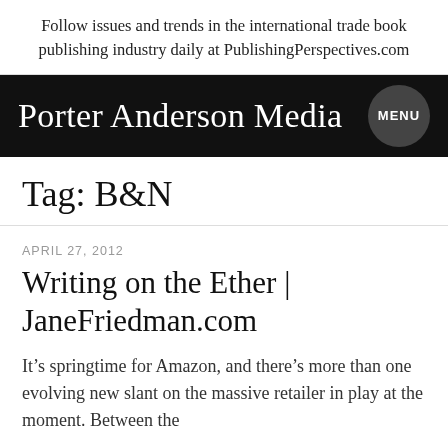Follow issues and trends in the international trade book publishing industry daily at PublishingPerspectives.com
Porter Anderson Media
Tag: B&N
APRIL 27, 2012
Writing on the Ether | JaneFriedman.com
It’s springtime for Amazon, and there’s more than one evolving new slant on the massive retailer in play at the moment. Between the